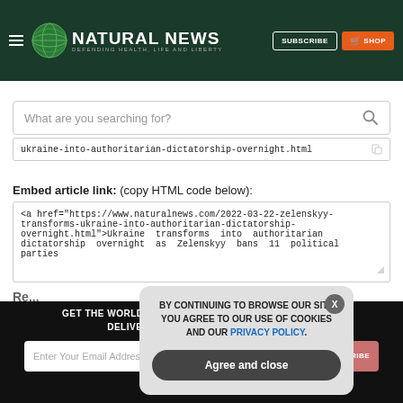NATURAL NEWS — DEFENDING HEALTH, LIFE AND LIBERTY
What are you searching for?
ukraine-into-authoritarian-dictatorship-overnight.html
Embed article link: (copy HTML code below):
<a href="https://www.naturalnews.com/2022-03-22-zelenskyy-transforms-ukraine-into-authoritarian-dictatorship-overnight.html">Ukraine transforms into authoritarian dictatorship overnight as Zelenskyy bans 11 political parties
GET THE WORLD'S BEST NATURAL HEALTH NEWSLETTER DELIVERED STRAIGHT TO YOUR INBOX
Enter Your Email Address
BY CONTINUING TO BROWSE OUR SITE YOU AGREE TO OUR USE OF COOKIES AND OUR PRIVACY POLICY.
Agree and close